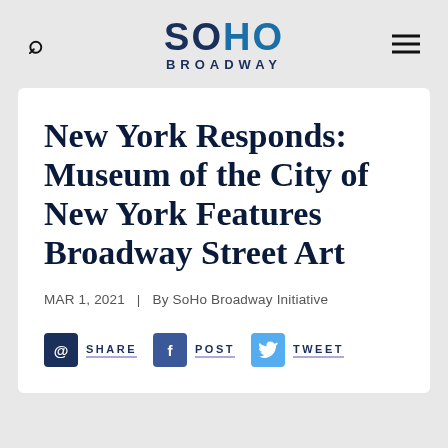SOHO BROADWAY
New York Responds: Museum of the City of New York Features Broadway Street Art
MAR 1, 2021  |  By SoHo Broadway Initiative
SHARE  POST  TWEET